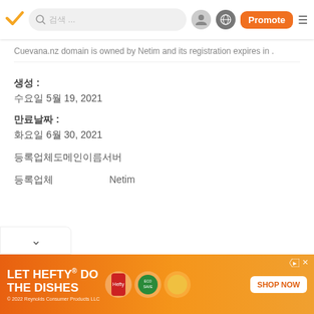Navigation bar with checkmark logo, search bar, profile icon, globe icon, Promote button, menu icon
Cuevana.nz domain is owned by Netim and its registration expires in .
생성 :
수요일 5월 19, 2021
만료날짜 :
화요일 6월 30, 2021
등록업체도메인이름서버
등록업체     Netim
[Figure (screenshot): Advertisement banner: LET HEFTY DO THE DISHES with orange gradient background, product images, and SHOP NOW button. © 2022 Reynolds Consumer Products LLC]